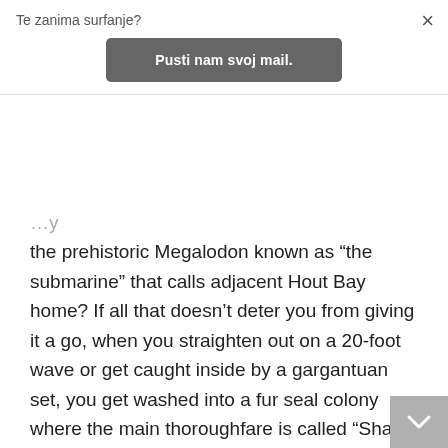Te zanima surfanje?
Pusti nam svoj mail.
the prehistoric Megalodon known as “the submarine” that calls adjacent Hout Bay home? If all that doesn’t deter you from giving it a go, when you straighten out on a 20-foot wave or get caught inside by a gargantuan set, you get washed into a fur seal colony where the main thoroughfare is called “Shark Alley.” So if the waves don’t kill or seriously maim you, there’s a good chance something else will. Sounds like fun, eh?